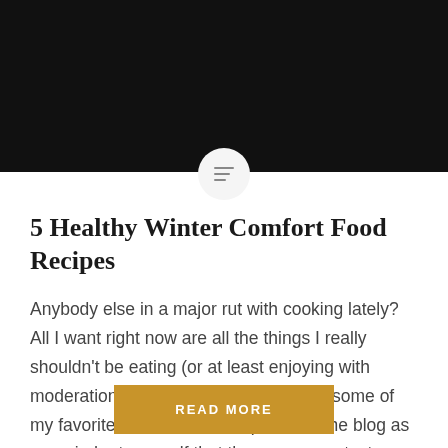[Figure (photo): Black banner header image area]
5 Healthy Winter Comfort Food Recipes
Anybody else in a major rut with cooking lately? All I want right now are all the things I really shouldn’t be eating (or at least enjoying with moderation)… So, here’s a roundup of some of my favorite comfort food recipes from the blog as a reminder to myself that they are super tasty, made…
READ MORE